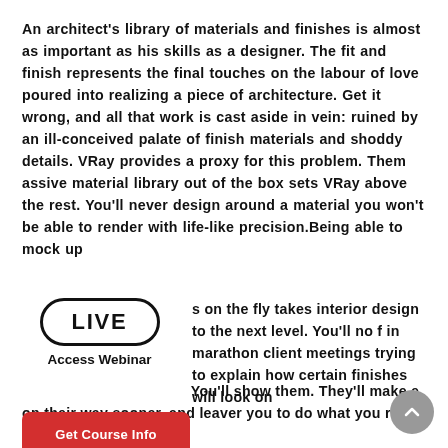An architect's library of materials and finishes is almost as important as his skills as a designer. The fit and finish represents the final touches on the labour of love poured into realizing a piece of architecture. Get it wrong, and all that work is cast aside in vein: ruined by an ill-conceived palate of finish materials and shoddy details. VRay provides a proxy for this problem. Them assive material library out of the box sets VRay above the rest. You'll never design around a material you won't be able to render with life-like precision.Being able to mock up s on the fly takes interior design to the next level. You'll no f in marathon client meetings trying to explain how certain finishes will look on You'll show them. They'll make e on their way sooner, and leaver you to do what you really love about
[Figure (logo): LIVE Access Webinar badge — oval border with LIVE text and Access Webinar label below]
[Figure (other): Red Get Course Info button]
[Figure (other): Grey circular scroll-to-top button with upward chevron]